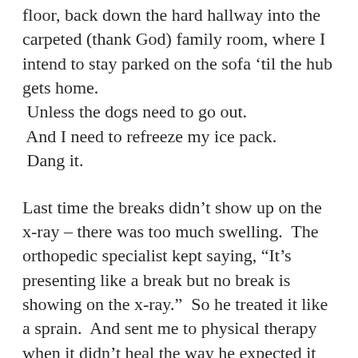floor, back down the hard hallway into the carpeted (thank God) family room, where I intend to stay parked on the sofa 'til the hub gets home. Unless the dogs need to go out. And I need to refreeze my ice pack. Dang it.
Last time the breaks didn't show up on the x-ray – there was too much swelling. The orthopedic specialist kept saying, “It's presenting like a break but no break is showing on the x-ray.” So he treated it like a sprain. And sent me to physical therapy when it didn't heal the way he expected it to. For over a month I was doing